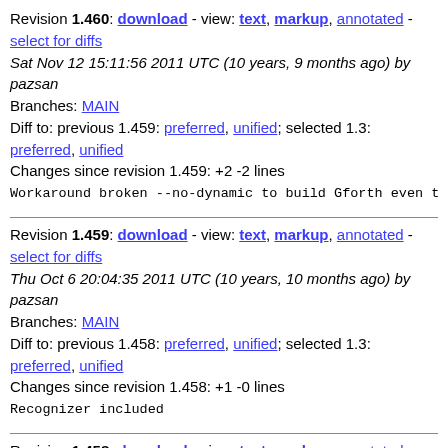Revision 1.460: download - view: text, markup, annotated - select for diffs
Sat Nov 12 15:11:56 2011 UTC (10 years, 9 months ago) by pazsan
Branches: MAIN
Diff to: previous 1.459: preferred, unified; selected 1.3: preferred, unified
Changes since revision 1.459: +2 -2 lines
Workaround broken --no-dynamic to build Gforth even thou
Revision 1.459: download - view: text, markup, annotated - select for diffs
Thu Oct 6 20:04:35 2011 UTC (10 years, 10 months ago) by pazsan
Branches: MAIN
Diff to: previous 1.458: preferred, unified; selected 1.3: preferred, unified
Changes since revision 1.458: +1 -0 lines
Recognizer included
Revision 1.458: download - view: text, markup, annotated - select for diffs
Thu Sep 1 17:39:05 2011 UTC (11 years ago) by anton